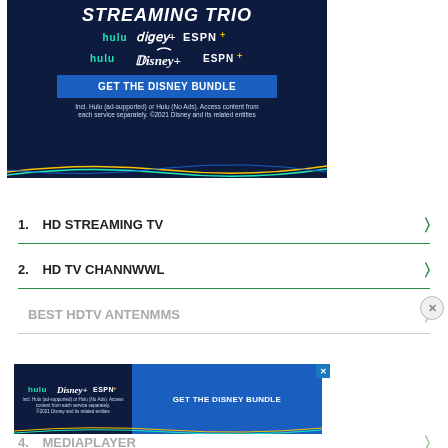[Figure (illustration): Disney Bundle advertisement with dark navy background showing 'STREAMING TRIO' heading, Hulu, Disney+, ESPN+ logos, a blue 'GET THE DISNEY BUNDLE' button, fine print, and decorative wave lines at bottom]
1.  HD STREAMING TV
2.  HD TV CHANNWWL
BEST HDTV ANTENMMS
[Figure (illustration): Disney Bundle bottom banner ad with Hulu, Disney+, ESPN+ logos on left, 'GET THE DISNEY BUNDLE' button on right, fine print below, and wave decoration]
4.  MEDIAPLAYER